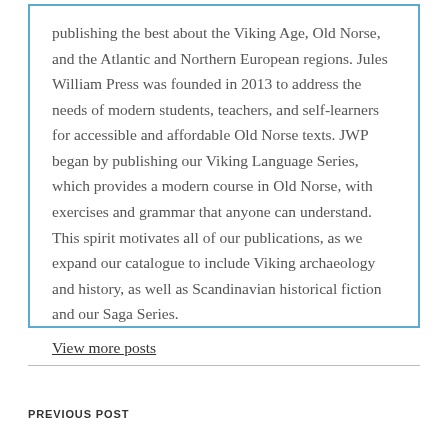publishing the best about the Viking Age, Old Norse, and the Atlantic and Northern European regions. Jules William Press was founded in 2013 to address the needs of modern students, teachers, and self-learners for accessible and affordable Old Norse texts. JWP began by publishing our Viking Language Series, which provides a modern course in Old Norse, with exercises and grammar that anyone can understand. This spirit motivates all of our publications, as we expand our catalogue to include Viking archaeology and history, as well as Scandinavian historical fiction and our Saga Series.
View more posts
PREVIOUS POST